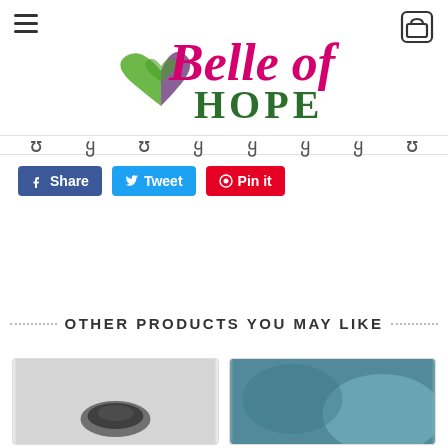[Figure (logo): Belle of Hope logo with heart and butterfly design in green and purple, with 'Belle of' in cursive pink/magenta and 'HOPE' in dark green serif capitals]
Navigation menu dots/icons (partially visible)
Share  Tweet  Pin it (social sharing buttons)
OTHER PRODUCTS YOU MAY LIKE
[Figure (photo): Product thumbnail - small dark colored item (jewelry or accessory)]
[Figure (photo): Product thumbnail - blurred teal/blue colored item]